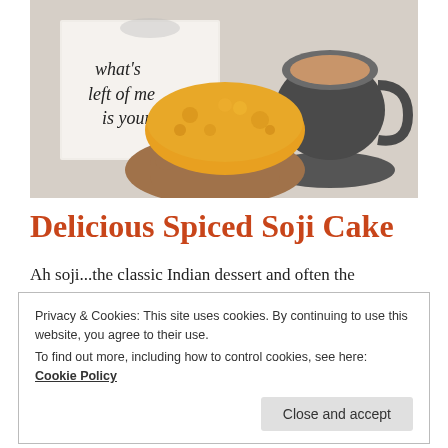[Figure (photo): A hand holding a golden-orange soji cake, with a cup of tea/coffee and a book with text 'what's left of me is yours' visible in the background on a marble surface.]
Delicious Spiced Soji Cake
Ah soji...the classic Indian dessert and often the
Privacy & Cookies: This site uses cookies. By continuing to use this website, you agree to their use.
To find out more, including how to control cookies, see here:
Cookie Policy
Close and accept
turned out really ... Continue reading